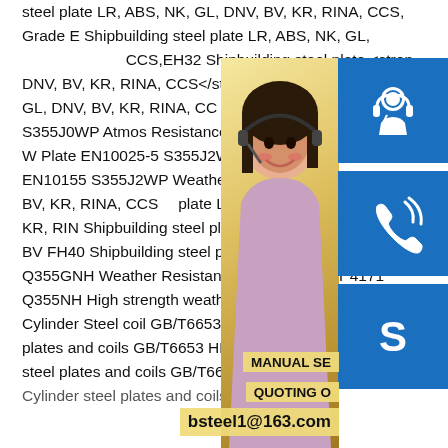steel plate LR, ABS, NK, GL, DNV, BV, KR, RINA, CCS, Grade E Shipbuilding steel plate LR, ABS, NK, GL, DNV, BV, KR, RINA, CCS,EH32 Shipbuilding steel plate <strong>DNV, BV, KR, RINA, CCS</strong> EH36 LR, ABS, NK, GL, DNV, BV, KR, RINA, CCS steel plate EN 10025-5 S355J0WP Atmospheric Resistance Steel EN10025-5 S355J2W Weather Resistant Plate EN10025-5 S355J2WP Atmosphere Steel EN10155 S355J2WP Weather Resistant ABS, NK, GL, DNV, BV, KR, RINA, CCS plate LR, ABS, NK, GL, DNV, BV, KR, RINA, Shipbuilding steel plate LR, ABS, NK, GL, CCS BV FH40 Shipbuilding steel plate China GB/T 4171 Q355GNH Weather Resistant Steel Plate GB/T 4171 Q355NH High strength weathering Steel Plate Gas Cylinder Steel coil GB/T6653 HP265 Gas Cylinder steel plates and coils GB/T6653 HP295 Welded Gas Cylinder steel plates and coils GB/T6653 HP325 Welded Gas Cylinder steel plates and coils P325GH
[Figure (photo): Woman with headset customer service representative photo with yellow/gold background]
[Figure (infographic): Three blue icon boxes: headset/customer service icon, phone call icon, Skype icon]
MANUAL SERVICE QUOTING ONLY bsteel1@163.com